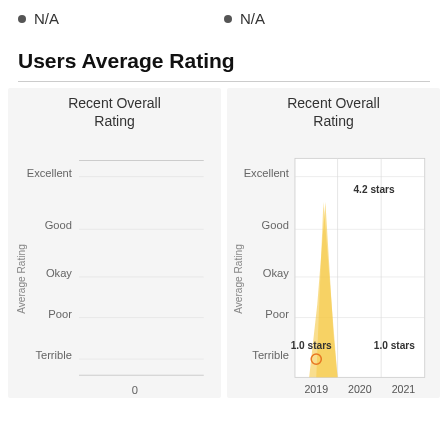N/A
N/A
Users Average Rating
[Figure (continuous-plot): Left chart: Recent Overall Rating — empty area chart with y-axis labels: Excellent, Good, Okay, Poor, Terrible and x-axis starting at 0. No data shown.]
[Figure (area-chart): Right chart: Recent Overall Rating — area chart with golden/orange shaded area. Y-axis labels: Excellent, Good, Okay, Poor, Terrible. X-axis labels: 2019, 2020, 2021. Data points: 1.0 stars at 2019, 4.2 stars peak (unlabeled x), 1.0 stars at 2021.]